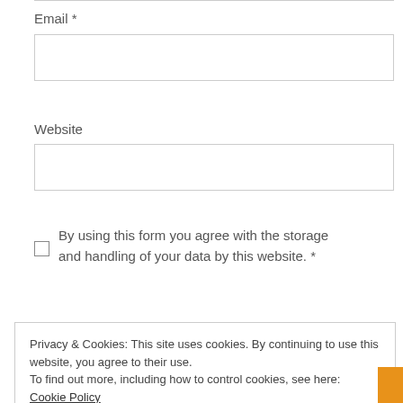Email *
Website
By using this form you agree with the storage and handling of your data by this website. *
Privacy & Cookies: This site uses cookies. By continuing to use this website, you agree to their use.
To find out more, including how to control cookies, see here:
Cookie Policy
Close and accept